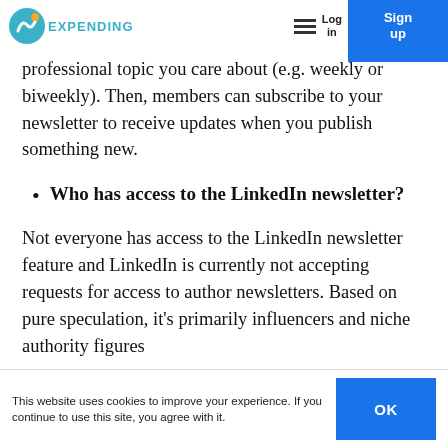EXPENDING | Log in | Sign up
professional topic you care about (e.g. weekly or biweekly). Then, members can subscribe to your newsletter to receive updates when you publish something new.
Who has access to the LinkedIn newsletter?
Not everyone has access to the LinkedIn newsletter feature and LinkedIn is currently not accepting requests for access to author newsletters. Based on pure speculation, it's primarily influencers and niche authority figures
This website uses cookies to improve your experience. If you continue to use this site, you agree with it.